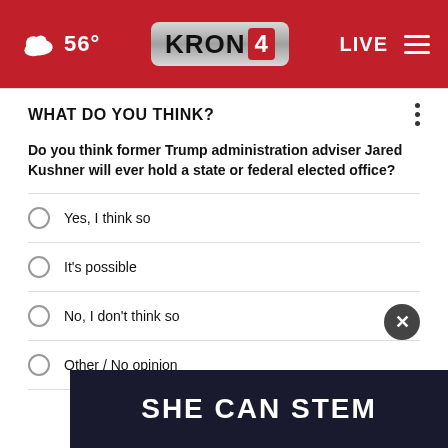56° KRON4 LIVE
WHAT DO YOU THINK?
Do you think former Trump administration adviser Jared Kushner will ever hold a state or federal elected office?
Yes, I think so
It's possible
No, I don't think so
Other / No opinion
NEXT *
* By clicking "NEXT" you agree to the following: We use cookies to store your survey answers. If you would like to continue with this survey please read
[Figure (screenshot): SHE CAN STEM advertisement banner at the bottom of the page]